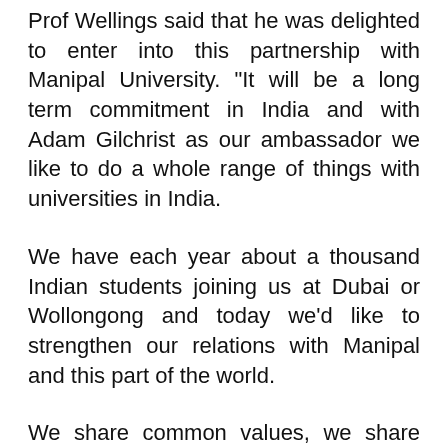Prof Wellings said that he was delighted to enter into this partnership with Manipal University. "It will be a long term commitment in India and with Adam Gilchrist as our ambassador we like to do a whole range of things with universities in India.
We have each year about a thousand Indian students joining us at Dubai or Wollongong and today we'd like to strengthen our relations with Manipal and this part of the world.
We share common values, we share common goals. He also spoke about some of the courses in UOW and said that their